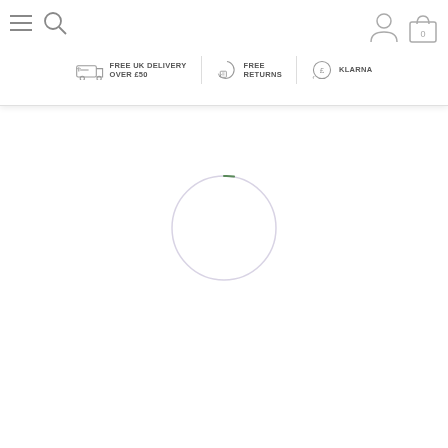Navigation header with menu, search, account, bag icons and promo bar: FREE UK DELIVERY OVER £50 | FREE RETURNS | KLARNA
[Figure (infographic): Loading spinner circle with a thin lavender/purple outline and a small green arc segment, indicating a page loading state]